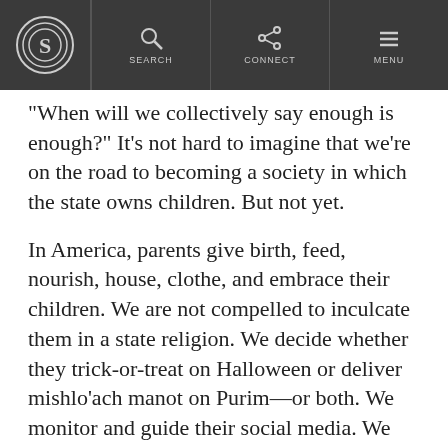S [logo] | SEARCH | CONNECT | MENU
When will we collectively say enough is enough? It's not hard to imagine that we're on the road to becoming a society in which the state owns children. But not yet.
In America, parents give birth, feed, nourish, house, clothe, and embrace their children. We are not compelled to inculcate them in a state religion. We decide whether they trick-or-treat on Halloween or deliver mishlo'ach manot on Purim—or both. We monitor and guide their social media. We help them choose friends. We teach them to obey the law.
Here in the state of California, school personnel or mental health workers partnering with schools, now